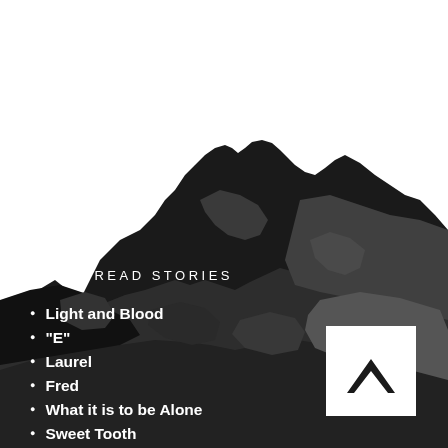[Figure (illustration): Dark dramatic mountain landscape in black and grey tones, with white sky at top. Stylized, high-contrast image of rocky mountain peaks.]
MOST READ STORIES
Light and Blood
"E"
Laurel
Fred
What it is to be Alone
Sweet Tooth
Of Snakes and Banjos
[Figure (logo): White square box containing a black upward chevron/arrow logo mark]